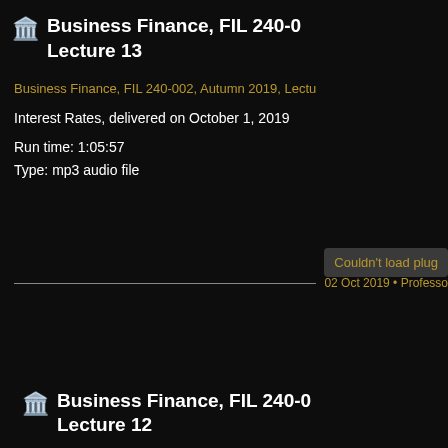🏛️ Business Finance, FIL 240-... Lecture 13
Business Finance, FIL 240-002, Autumn 2019, Lectu...
Interest Rates, delivered on October 1, 2019
Run time: 1:05:57
Type: mp3 audio file
Couldn't load plug...
02 Oct 2019 • Professo...
🏛️ Business Finance, FIL 240-... Lecture 12